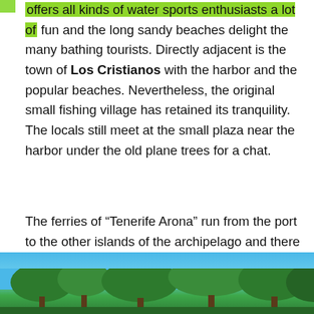offers all kinds of water sports enthusiasts a lot of fun and the long sandy beaches delight the many bathing tourists. Directly adjacent is the town of Los Cristianos with the harbor and the popular beaches. Nevertheless, the original small fishing village has retained its tranquility. The locals still meet at the small plaza near the harbor under the old plane trees for a chat.
The ferries of “Tenerife Arona” run from the port to the other islands of the archipelago and there is always a coming and going. Fishing boats often come in and you can watch the big tuna being unloaded.
[Figure (photo): Photo of trees with blue sky background, bottom portion of page]